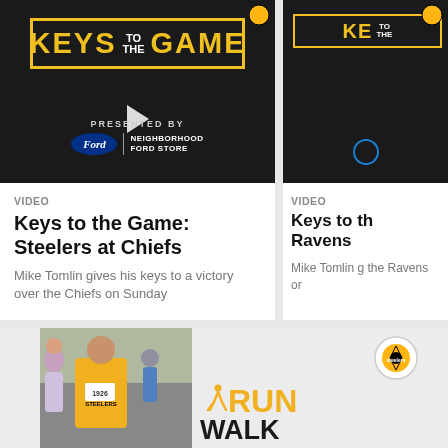[Figure (screenshot): Keys to the Game video thumbnail - dark background with yellow bordered title, play button, presented by Ford Neighborhood Ford Store]
VIDEO
Keys to the Game: Steelers at Chiefs
Mike Tomlin gives his keys to a victory over the Chiefs on Sunday
[Figure (screenshot): Keys to the Game video thumbnail (partial, right side) - dark background with yellow bordered title]
VIDEO
Keys to the Game: Steelers at Ravens
Mike Tomlin gives his keys to a victory over the Ravens on
[Figure (photo): Steelers Run Walk promotional banner - photo of runners in Steelers gear with race bibs (1926), RUN WALK text in yellow and black with Steelers logo]